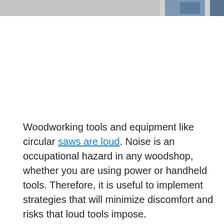[Figure (photo): Partial image visible at the top of the page, appears to show woodworking tools or equipment, partially cropped.]
Woodworking tools and equipment like circular saws are loud. Noise is an occupational hazard in any woodshop, whether you are using power or handheld tools. Therefore, it is useful to implement strategies that will minimize discomfort and risks that loud tools impose.